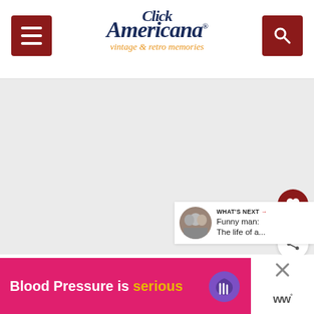Click Americana - vintage & retro memories
[Figure (screenshot): Main content area - large whitespace/image area below the header]
[Figure (infographic): Heart/like button (dark red circular button with heart icon) on the right side]
[Figure (infographic): Share button (white circular button with share icon) on the right side]
WHAT'S NEXT → Funny man: The life of a...
[Figure (infographic): Ad banner: Blood Pressure is serious with purple heart icon]